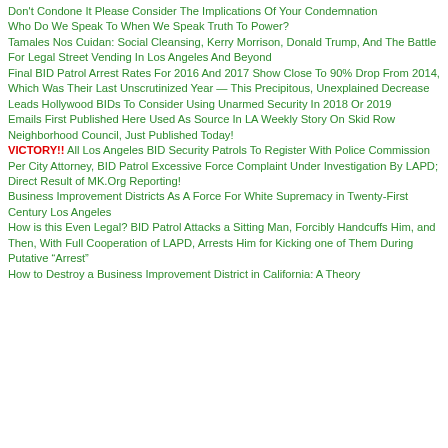Don't Condone It Please Consider The Implications Of Your Condemnation
Who Do We Speak To When We Speak Truth To Power?
Tamales Nos Cuidan: Social Cleansing, Kerry Morrison, Donald Trump, And The Battle For Legal Street Vending In Los Angeles And Beyond
Final BID Patrol Arrest Rates For 2016 And 2017 Show Close To 90% Drop From 2014, Which Was Their Last Unscrutinized Year — This Precipitous, Unexplained Decrease Leads Hollywood BIDs To Consider Using Unarmed Security In 2018 Or 2019
Emails First Published Here Used As Source In LA Weekly Story On Skid Row Neighborhood Council, Just Published Today!
VICTORY!! All Los Angeles BID Security Patrols To Register With Police Commission Per City Attorney, BID Patrol Excessive Force Complaint Under Investigation By LAPD; Direct Result of MK.Org Reporting!
Business Improvement Districts As A Force For White Supremacy in Twenty-First Century Los Angeles
How is this Even Legal? BID Patrol Attacks a Sitting Man, Forcibly Handcuffs Him, and Then, With Full Cooperation of LAPD, Arrests Him for Kicking one of Them During Putative “Arrest”
How to Destroy a Business Improvement District in California: A Theory